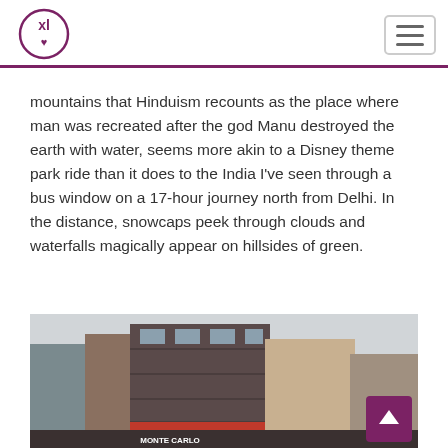XL logo and navigation
mountains that Hinduism recounts as the place where man was recreated after the god Manu destroyed the earth with water, seems more akin to a Disney theme park ride than it does to the India I've seen through a bus window on a 17-hour journey north from Delhi. In the distance, snowcaps peek through clouds and waterfalls magically appear on hillsides of green.
[Figure (photo): Street-level photo of multi-story Indian commercial buildings with colorful facades; a Monte Carlo store sign visible at the bottom; overcast sky in background.]